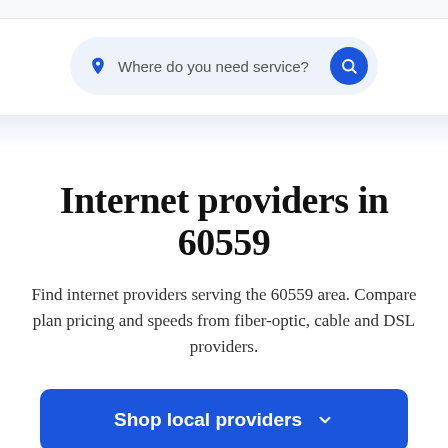[Figure (screenshot): Search bar with location pin icon and text 'Where do you need service?' and a blue circular search button]
Internet providers in 60559
Find internet providers serving the 60559 area. Compare plan pricing and speeds from fiber-optic, cable and DSL providers.
Shop local providers